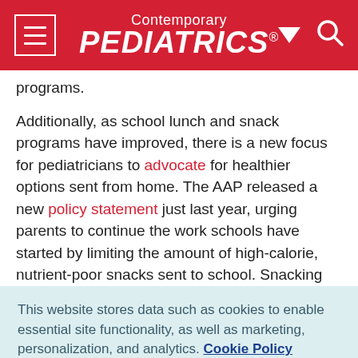Contemporary PEDIATRICS
programs.
Additionally, as school lunch and snack programs have improved, there is a new focus for pediatricians to advocate for healthier options sent from home. The AAP released a new policy statement just last year, urging parents to continue the work schools have started by limiting the amount of high-calorie, nutrient-poor snacks sent to school. Snacking guidelines from AAP and other resources help pediatricians
This website stores data such as cookies to enable essential site functionality, as well as marketing, personalization, and analytics. Cookie Policy
Accept
Deny